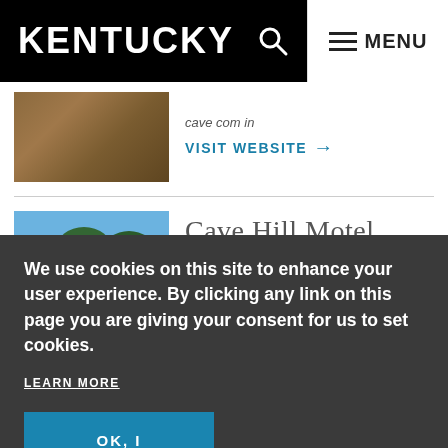KENTUCKY MENU
VISIT WEBSITE →
Cave Hill Motel
EDMONTON, KY
We use cookies on this site to enhance your user experience. By clicking any link on this page you are giving your consent for us to set cookies.
LEARN MORE
OK, I AGREE